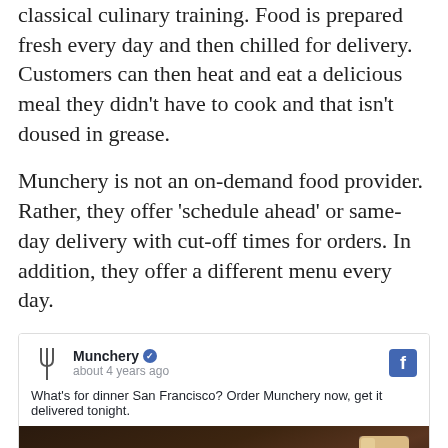prepared by award winning professional chefs with classical culinary training. Food is prepared fresh every day and then chilled for delivery. Customers can then heat and eat a delicious meal they didn't have to cook and that isn't doused in grease.
Munchery is not an on-demand food provider. Rather, they offer 'schedule ahead' or same-day delivery with cut-off times for orders. In addition, they offer a different menu every day.
[Figure (screenshot): A Facebook post by Munchery (verified page), posted about 4 years ago. Text reads: 'What's for dinner San Francisco? Order Munchery now, get it delivered tonight.' Below is a food photo showing a cooked meat dish on a plate with a glass of beer in the background.]